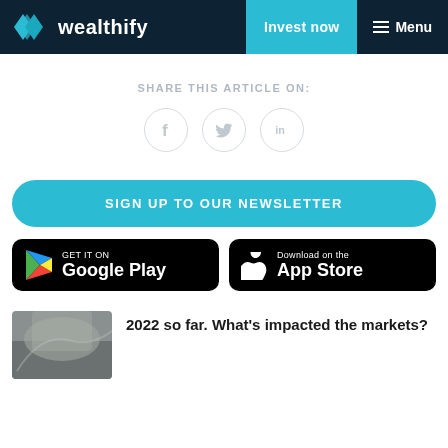wealthify | Invest now | Menu
SHARE THIS ARTICLE ON:
[Figure (other): Three circular social media share buttons: Facebook (f), Twitter (bird), LinkedIn (in)]
SIGN UP TO OUR NEWSLETTER
[Figure (other): Google Play store download button]
[Figure (other): Apple App Store download button]
2022 so far. What's impacted the markets?
[Figure (photo): Thumbnail image of a car side mirror reflecting a mountain road scene]